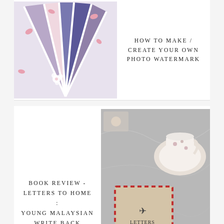[Figure (photo): Flat lay photo of colorful fabric fans/wedges with pink flower petals on white background]
HOW TO MAKE / CREATE YOUR OWN PHOTO WATERMARK
[Figure (photo): Photo of person holding 'Letters to Home' book with floral teacup on marble surface]
BOOK REVIEW - LETTERS TO HOME : YOUNG MALAYSIAN WRITE BACK
POSTS YOU MAY LIKE
[Figure (photo): Two photos side by side - left shows flat lay with coffee and flowers, right shows a metro/transit map]